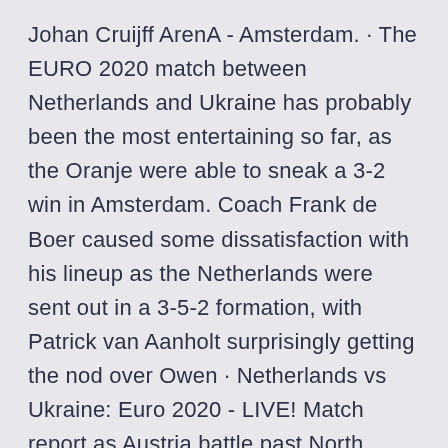Johan Cruijff ArenA - Amsterdam. · The EURO 2020 match between Netherlands and Ukraine has probably been the most entertaining so far, as the Oranje were able to sneak a 3-2 win in Amsterdam. Coach Frank de Boer caused some dissatisfaction with his lineup as the Netherlands were sent out in a 3-5-2 formation, with Patrick van Aanholt surprisingly getting the nod over Owen · Netherlands vs Ukraine: Euro 2020 - LIVE! Match report as Austria battle past North Macedonia to secure a 3-1 victory in the opening game in group C in Bucharest Group C of UEFA Euro 2020 is taking place from 13 to in Amsterdam's Johan Cruyff Arena and Bucharest's Arena Națională. The group contains host nation the Netherlands , Ukraine , Austria and North Macedonia . · UEFA Euro 2020: England Beat Croatia, Austria Down North Macedonia and Netherlands Edge